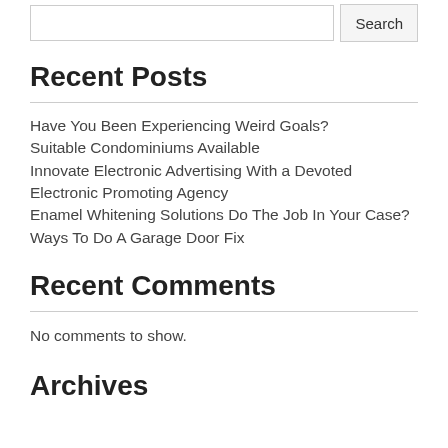Recent Posts
Have You Been Experiencing Weird Goals?
Suitable Condominiums Available
Innovate Electronic Advertising With a Devoted Electronic Promoting Agency
Enamel Whitening Solutions Do The Job In Your Case?
Ways To Do A Garage Door Fix
Recent Comments
No comments to show.
Archives